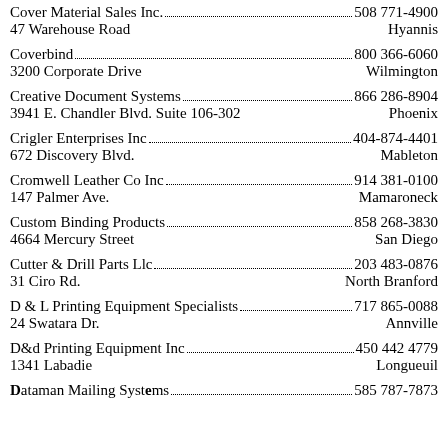Cover Material Sales Inc. ... 508 771-4900 / 47 Warehouse Road / Hyannis
Coverbind ... 800 366-6060 / 3200 Corporate Drive / Wilmington
Creative Document Systems ... 866 286-8904 / 3941 E. Chandler Blvd. Suite 106-302 / Phoenix
Crigler Enterprises Inc ... 404-874-4401 / 672 Discovery Blvd. / Mableton
Cromwell Leather Co Inc ... 914 381-0100 / 147 Palmer Ave. / Mamaroneck
Custom Binding Products ... 858 268-3830 / 4664 Mercury Street / San Diego
Cutter & Drill Parts Llc ... 203 483-0876 / 31 Ciro Rd. / North Branford
D & L Printing Equipment Specialists ... 717 865-0088 / 24 Swatara Dr. / Annville
D&d Printing Equipment Inc ... 450 442 4779 / 1341 Labadie / Longueuil
Dataman Mailing Systems ... 585 787-7873